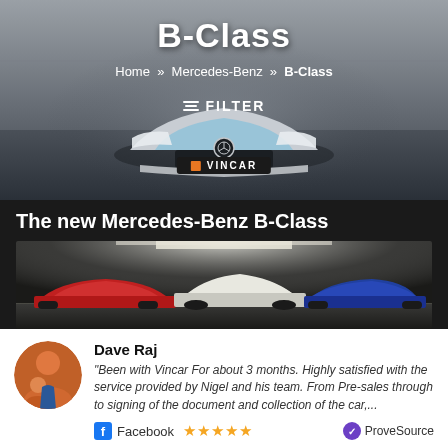[Figure (photo): Mercedes-Benz B-Class front view, silver/white car, with VINCAR dealer plate, dark background. Hero banner with title B-Class, breadcrumb navigation Home > Mercedes-Benz > B-Class, and FILTER button overlay.]
B-Class
Home » Mercedes-Benz » B-Class
FILTER
The new Mercedes-Benz B-Class
[Figure (photo): Three Mercedes-Benz B-Class cars in red, white, and blue parked in a dark showroom with dramatic overhead lighting.]
Dave Raj
"Been with Vincar For about 3 months. Highly satisfied with the service provided by Nigel and his team. From Pre-sales through to signing of the document and collection of the car,...
Facebook ★★★★★ ProveSource